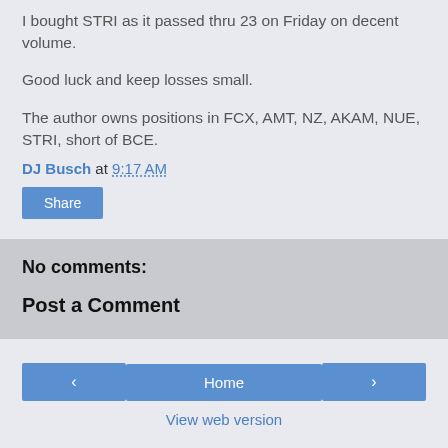I bought STRI as it passed thru 23 on Friday on decent volume.
Good luck and keep losses small.
The author owns positions in FCX, AMT, NZ, AKAM, NUE, STRI, short of BCE.
DJ Busch at 9:17 AM
Share
No comments:
Post a Comment
Home
View web version